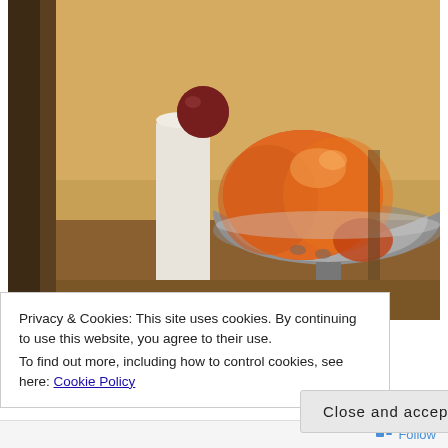[Figure (photo): Kitchen countertop scene: a large orange/red heirloom tomato in a silver colander/strainer bowl on a stand, with a paper towel roll and a small dark red ball (possibly a plum tomato) on a white pedestal in the background. Warm yellowish-brown tones.]
Privacy & Cookies: This site uses cookies. By continuing to use this website, you agree to their use.
To find out more, including how to control cookies, see here: Cookie Policy
Close and accept